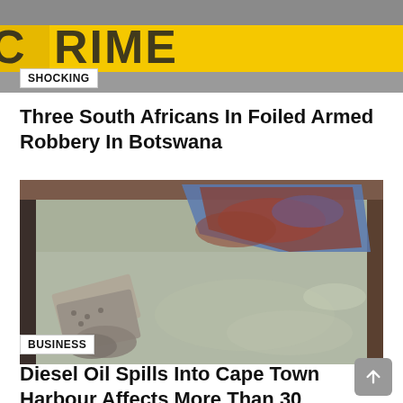[Figure (photo): Yellow crime scene tape with partial text visible, blurred background]
SHOCKING
Three South Africans In Foiled Armed Robbery In Botswana
[Figure (photo): Metal container or bin with rusty corroded metal pieces and debris sitting in a grey-green liquid resembling oil or contaminated water]
BUSINESS
Diesel Oil Spills Into Cape Town Harbour Affects More Than 30 Seals